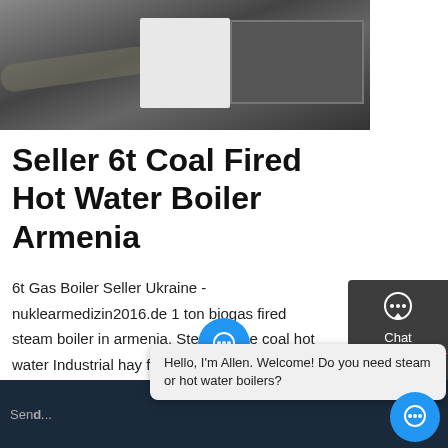[Figure (photo): Industrial boiler equipment photo showing a white rectangular boiler unit with hoses/pipes in a warehouse/factory setting]
Seller 6t Coal Fired Hot Water Boiler Armenia
6t Gas Boiler Seller Ukraine - nuklearmedizin2016.de 1 ton biogas fired steam boiler in armenia. Steam Price coal hot water Industrial hay fired steam wood pellet fired steam in for school fast assemble hay steam in sugar plant Gas fired for sale /Gas series
[Figure (screenshot): Right sidebar with Chat, Email, and Contact icons on dark gray background]
Get a Quote
Hello, I'm Allen. Welcome! Do you need steam or hot water boilers?
Send ... line